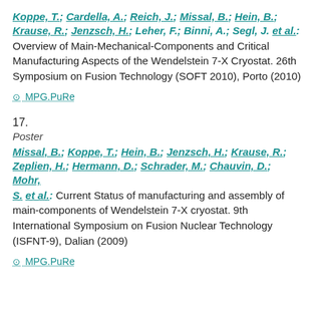Koppe, T.; Cardella, A.; Reich, J.; Missal, B.; Hein, B.; Krause, R.; Jenzsch, H.; Leher, F.; Binni, A.; Segl, J. et al.: Overview of Main-Mechanical-Components and Critical Manufacturing Aspects of the Wendelstein 7-X Cryostat. 26th Symposium on Fusion Technology (SOFT 2010), Porto (2010)
MPG.PuRe
17.
Poster
Missal, B.; Koppe, T.; Hein, B.; Jenzsch, H.; Krause, R.; Zeplien, H.; Hermann, D.; Schrader, M.; Chauvin, D.; Mohr, S. et al.: Current Status of manufacturing and assembly of main-components of Wendelstein 7-X cryostat. 9th International Symposium on Fusion Nuclear Technology (ISFNT-9), Dalian (2009)
MPG.PuRe